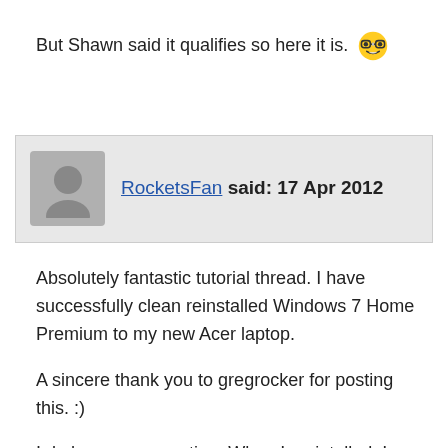But Shawn said it qualifies so here it is. 🤓
RocketsFan said: 17 Apr 2012
Absolutely fantastic tutorial thread. I have successfully clean reinstalled Windows 7 Home Premium to my new Acer laptop.

A sincere thank you to gregrocker for posting this. :)

I do have one question. When I resintalled, I formatted the primary partition and reinstalled without a hitch. However, I did notice two smaller partitions that I am assuming hold the hidden factory backup? Do I need these or may I also